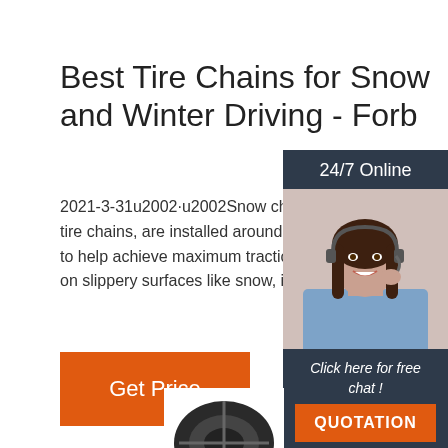Best Tire Chains for Snow and Winter Driving - Forb
2021-3-31u2002·u2002Snow chains, often tire chains, are installed around a vehicle's to help achieve maximum traction when dr on slippery surfaces like snow, ice and eve
Get Price
[Figure (infographic): Sidebar advertisement widget with dark blue/navy background. Header reads '24/7 Online'. Photo of a smiling woman with headset (customer service agent). Text reads 'Click here for free chat !' with orange QUOTATION button.]